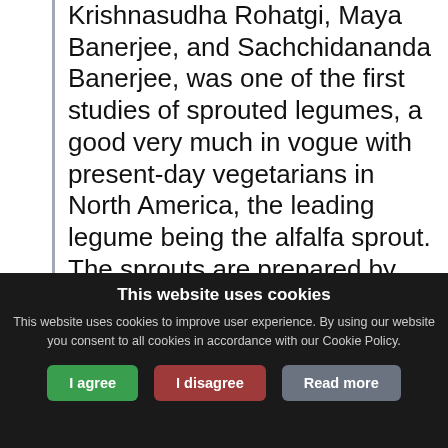Krishnasudha Rohatgi, Maya Banerjee, and Sachchidananda Banerjee, was one of the first studies of sprouted legumes, a good very much in vogue with present-day vegetarians in North America, the leading legume being the alfalfa sprout. The sprouts are prepared by germinating the seed in water (rinsing several times daily) until the sprout with its first leaves are obtained. These sprouts are then used in salads, or added to other foods in the same manner as one would use lettuce, that is, as a garnish. Let us quote from the "Effect of Germination of Vitamin B-12 Values of
This website uses cookies
This website uses cookies to improve user experience. By using our website you consent to all cookies in accordance with our Cookie Policy.
I agree | I disagree | Read more